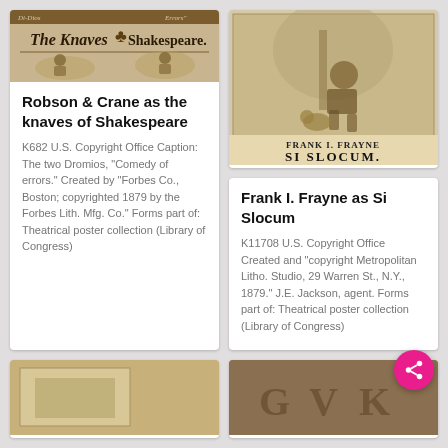[Figure (illustration): Theatrical poster for 'The Knaves of Shakespeare' / 'Comedy of Errors' showing Robson & Crane as the two Dromios]
Robson & Crane as the knaves of Shakespeare
K682 U.S. Copyright Office Caption: The two Dromios, "Comedy of errors." Created by "Forbes Co., Boston; copyrighted 1879 by the Forbes Lith. Mfg. Co." Forms part of: Theatrical poster collection (Library of Congress)
[Figure (illustration): Theatrical poster featuring Frank I. Frayne as Si Slocum, showing a man sitting with a dog]
Frank I. Frayne as Si Slocum
K11708 U.S. Copyright Office Created and "copyright Metropolitan Litho. Studio, 29 Warren St., N.Y., 1879." J.E. Jackson, agent. Forms part of: Theatrical poster collection (Library of Congress)
[Figure (illustration): Partial view of another theatrical poster at bottom left]
[Figure (illustration): Partial view of another theatrical poster at bottom right with decorative lettering]